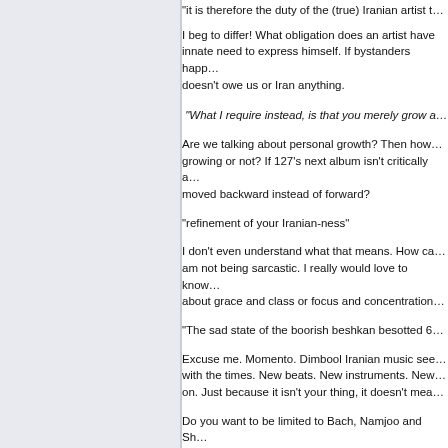“it is therefore the duty of the (true) Iranian artist t…
I beg to differ! What obligation does an artist have… innate need to express himself. If bystanders happ… doesn’t owe us or Iran anything.
“What I require instead, is that you merely grow a…
Are we talking about personal growth? Then how… growing or not? If 127’s next album isn’t critically a… moved backward instead of forward?
“refinement of your Iranian-ness”
I don’t even understand what that means. How ca… am not being sarcastic. I really would love to kno… about grace and class or focus and concentration…
“The sad state of the boorish beshkan besotted 6…
Excuse me. Momento. Dimbool Iranian music see… with the times. New beats. New instruments. New… on. Just because it isn’t your thing, it doesn’t mea…
Do you want to be limited to Bach, Namjoo and Sh… going to dance to at your next party? May I remind… people like Ramesh and SHahram Shabpareh ha… wouldn’t have gone if it was stuck in ghamarol mo…
Your description of Iranian pop music is very snob…